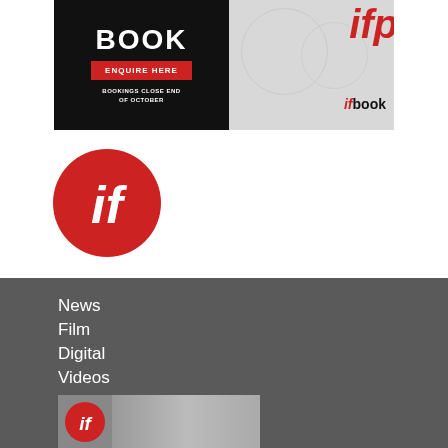[Figure (advertisement): Ad banner split into black left panel with 'BOOK' in white bold text, red 'ENQUIRE HERE' button, 'BOOKINGS CLOSE END OF OCTOBER' text; and grey right panel with 'ifp' in red italic and 'ifbook' logo]
[Figure (logo): Large red circle with white 'if' letters in bold italic — the IF Magazine logo]
News
Film
Digital
Videos
[Figure (photo): IF Magazine cover thumbnail showing red circle logo and a black-and-white photo of a person]